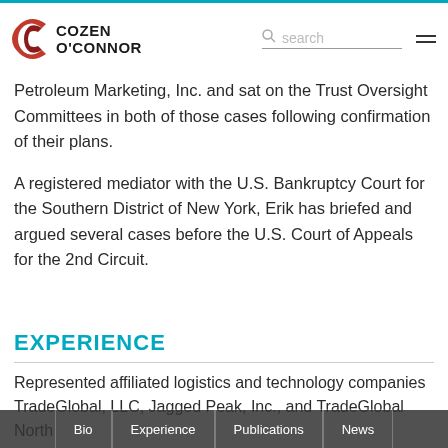Cozen O'Connor [logo] search [menu]
Petroleum Marketing, Inc. and sat on the Trust Oversight Committees in both of those cases following confirmation of their plans.
A registered mediator with the U.S. Bankruptcy Court for the Southern District of New York, Erik has briefed and argued several cases before the U.S. Court of Appeals for the 2nd Circuit.
EXPERIENCE
Represented affiliated logistics and technology companies TradeGlobal, LLC, Jagged Peak, Inc., and TradeGlobal North America...